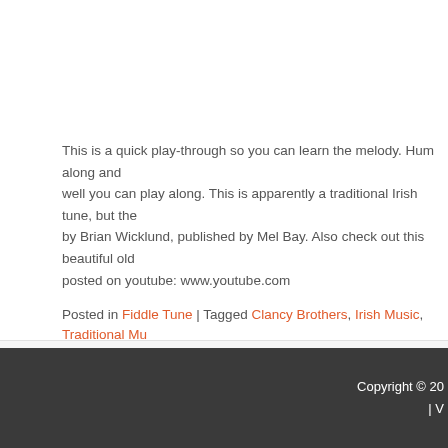This is a quick play-through so you can learn the melody. Hum along and well you can play along. This is apparently a traditional Irish tune, but the by Brian Wicklund, published by Mel Bay. Also check out this beautiful old posted on youtube: www.youtube.com
Posted in Fiddle Tune | Tagged Clancy Brothers, Irish Music, Traditional Mu...
1  2
Copyright © 20 | V